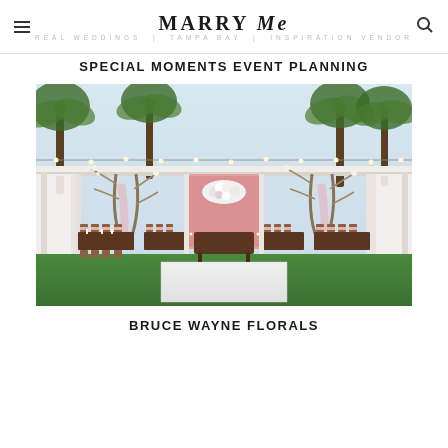MARRY Me TAMPA BAY
SPECIAL MOMENTS EVENT PLANNING
[Figure (photo): Outdoor wedding reception setup with string lights, white draped fabric, floral arch with branches, pink floral wall backdrop, sweetheart table, chiavari chairs, and white dance floor on green grass with palm trees in background]
BRUCE WAYNE FLORALS